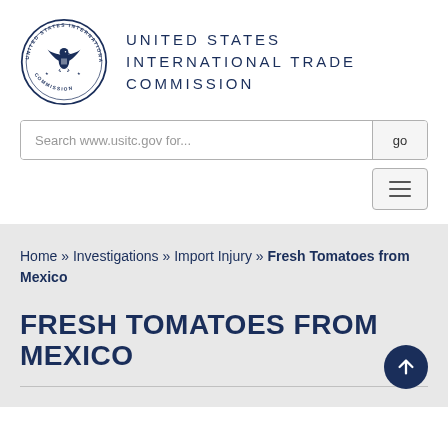[Figure (logo): United States International Trade Commission circular seal with eagle]
UNITED STATES INTERNATIONAL TRADE COMMISSION
Search www.usitc.gov for...
Home » Investigations » Import Injury » Fresh Tomatoes from Mexico
FRESH TOMATOES FROM MEXICO